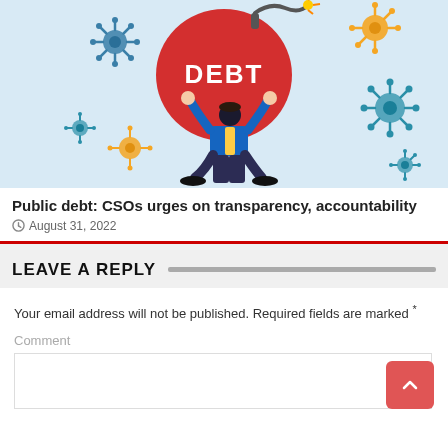[Figure (illustration): Illustration of a businessman straining under the weight of a giant red bomb labeled DEBT, surrounded by coronavirus particles on a light blue background.]
Public debt: CSOs urges on transparency, accountability
August 31, 2022
LEAVE A REPLY
Your email address will not be published. Required fields are marked *
Comment